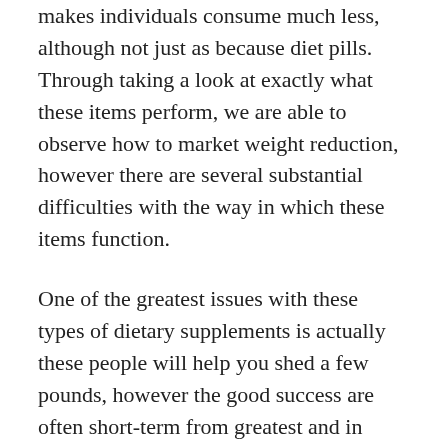makes individuals consume much less, although not just as because diet pills. Through taking a look at exactly what these items perform, we are able to observe how to market weight reduction, however there are several substantial difficulties with the way in which these items function.
One of the greatest issues with these types of dietary supplements is actually these people will help you shed a few pounds, however the good success are often short-term from greatest and in some cases individuals regain all of the pounds or even more once the cease getting the actual dietary supplements. Getting diet pills is basically such as becoming on the really low calorie diet plan, exactly where a person shed a few pounds in the beginning due to the fact you're consuming a lot under typical. Nevertheless, the body may ultimately turn off your own metabolic process in an effort to preserve